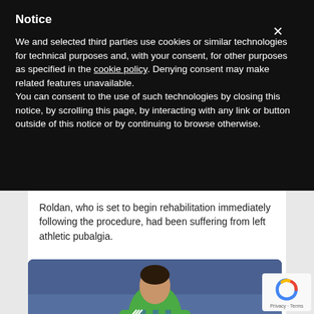Notice
We and selected third parties use cookies or similar technologies for technical purposes and, with your consent, for other purposes as specified in the cookie policy. Denying consent may make related features unavailable.
You can consent to the use of such technologies by closing this notice, by scrolling this page, by interacting with any link or button outside of this notice or by continuing to browse otherwise.
Roldan, who is set to begin rehabilitation immediately following the procedure, had been suffering from left athletic pubalgia.
[Figure (photo): Soccer player wearing green Seattle Sounders jersey with number 90, running on the field during a match]